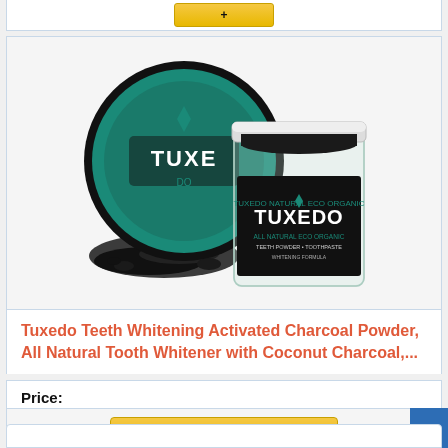[Figure (photo): A glass jar of Tuxedo All Natural Eco Organic Teeth Whitening Activated Charcoal Powder with its black lid open showing teal interior, with black charcoal powder spilled next to it]
Tuxedo Teeth Whitening Activated Charcoal Powder, All Natural Tooth Whitener with Coconut Charcoal,...
Price:
[Figure (screenshot): Buy on Amazon button with shopping cart icon]